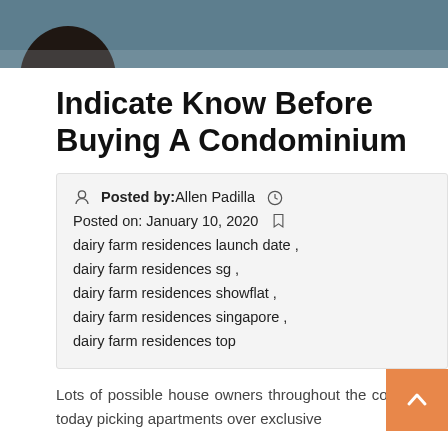[Figure (photo): Partial photo of a person's head against a dark teal/blue background, cropped at top of page]
Indicate Know Before Buying A Condominium
Posted by: Allen Padilla   Posted on: January 10, 2020   dairy farm residences launch date , dairy farm residences sg , dairy farm residences showflat , dairy farm residences singapore , dairy farm residences top
Lots of possible house owners throughout the country are today picking apartments over exclusive